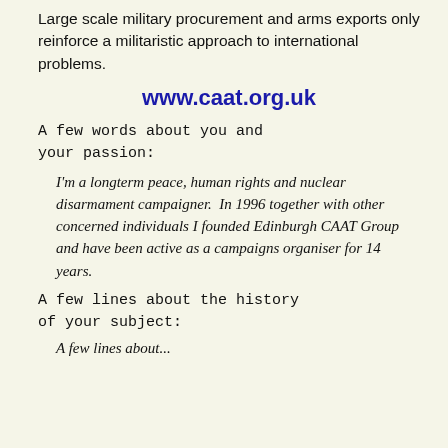Large scale military procurement and arms exports only reinforce a militaristic approach to international problems.
www.caat.org.uk
A few words about you and your passion:
I'm a longterm peace, human rights and nuclear disarmament campaigner.  In 1996 together with other concerned individuals I founded Edinburgh CAAT Group and have been active as a campaigns organiser for 14 years.
A few lines about the history of your subject:
A few lines about...